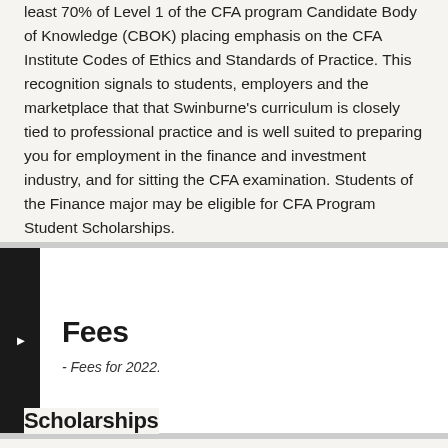least 70% of Level 1 of the CFA program Candidate Body of Knowledge (CBOK) placing emphasis on the CFA Institute Codes of Ethics and Standards of Practice. This recognition signals to students, employers and the marketplace that that Swinburne's curriculum is closely tied to professional practice and is well suited to preparing you for employment in the finance and investment industry, and for sitting the CFA examination. Students of the Finance major may be eligible for CFA Program Student Scholarships.
Fees
- Fees for 2022.
Scholarships